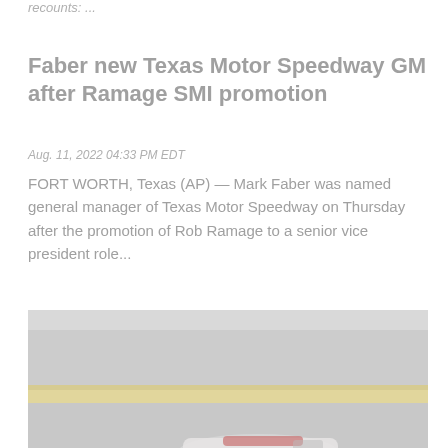recounts: ...
Faber new Texas Motor Speedway GM after Ramage SMI promotion
Aug. 11, 2022 04:33 PM EDT
FORT WORTH, Texas (AP) — Mark Faber was named general manager of Texas Motor Speedway on Thursday after the promotion of Rob Ramage to a senior vice president role...
[Figure (photo): A NASCAR race car on a speedway track, with pit lane barrier visible showing partial 'POC' text.]